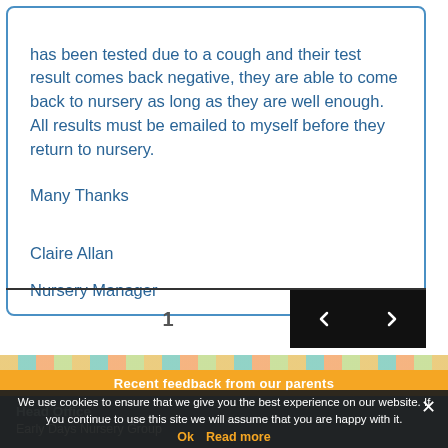has been tested due to a cough and their test result comes back negative, they are able to come back to nursery as long as they are well enough. All results must be emailed to myself before they return to nursery.
Many Thanks
Claire Allan
Nursery Manager
1
Recent feedback from our parents
Head Office
Early Days Nursery Group
10 Walker Street
We use cookies to ensure that we give you the best experience on our website. If you continue to use this site we will assume that you are happy with it.